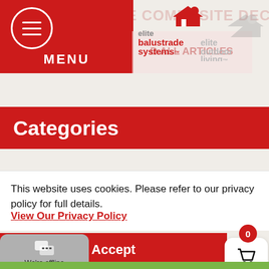[Figure (screenshot): Website header with red left navigation panel containing hamburger menu icon and MENU label, Elite Balustrade Systems logo in center, Elite Outdoor Living logo on right, background text 'A COMPLETE COMPOSITE DECKING SOLUTION']
Categories
This website uses cookies. Please refer to our privacy policy for full details.
View Our Privacy Policy
Accept
[Figure (screenshot): Shopping cart button with badge showing 0, and chat widget showing 'We're offline' message]